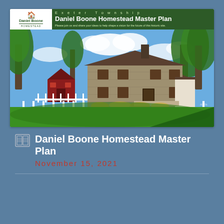[Figure (photo): Screenshot of the Daniel Boone Homestead Master Plan flyer, showing a historic stone farmhouse with white picket fence, red barn, green lawn, and trees under a blue sky. Header reads 'Exeter Township – Daniel Boone Homestead Master Plan'. Logo in upper left corner reads 'Daniel Boone Homestead'.]
Daniel Boone Homestead Master Plan
November 15, 2021